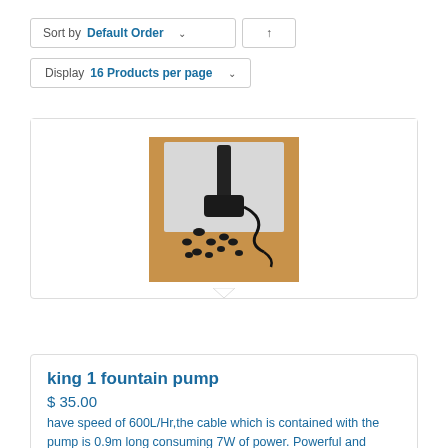Sort by Default Order ˅ ↑
Display 16 Products per page ˅
[Figure (photo): A fountain pump with multiple nozzle attachments and a cable, displayed on a wooden surface with a light gray background.]
king 1 fountain pump
$ 35.00
have speed of 600L/Hr,the cable which is contained with the pump is 0.9m long consuming 7W of power. Powerful and energy